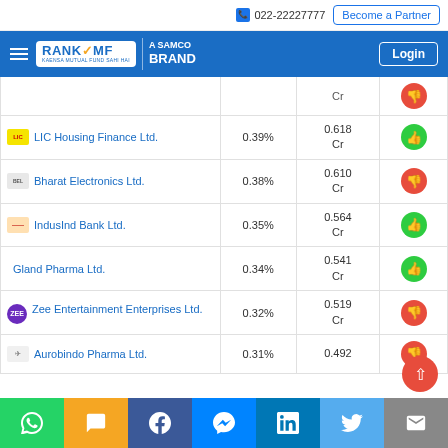022-22227777 | Become a Partner | Login
[Figure (logo): RankMF - A Samco Brand logo in blue navigation bar]
| Company | Allocation % | Value (Cr) | Rating |
| --- | --- | --- | --- |
| LIC Housing Finance Ltd. | 0.39% | 0.618 Cr | 👍 |
| Bharat Electronics Ltd. | 0.38% | 0.610 Cr | 👎 |
| IndusInd Bank Ltd. | 0.35% | 0.564 Cr | 👍 |
| Gland Pharma Ltd. | 0.34% | 0.541 Cr | 👍 |
| Zee Entertainment Enterprises Ltd. | 0.32% | 0.519 Cr | 👎 |
| Aurobindo Pharma Ltd. | 0.31% | 0.492 | 👎 |
WhatsApp | SMS | Facebook | Messenger | LinkedIn | Twitter | Email